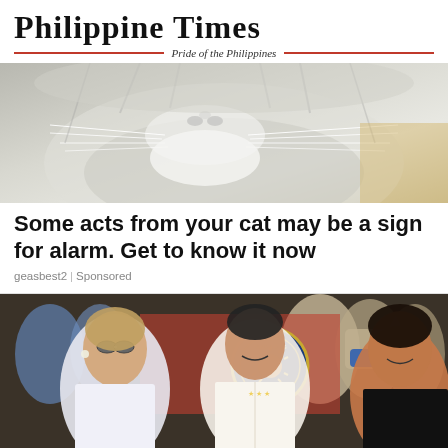Philippine Times — Pride of the Philippines
[Figure (photo): Close-up photo of a fluffy gray and white cat's face, showing nose and fur details]
Some acts from your cat may be a sign for alarm. Get to know it now
geasbest2 | Sponsored
[Figure (photo): Photo of Filipino political figures smiling at an official event, with the Pangulo ng Pilipinas seal visible in background. An elderly woman in white, a man in barong, and a woman on the right. Background crowd includes people wearing face masks.]